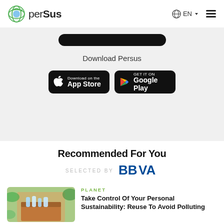perSus — EN navigation header
[Figure (screenshot): Black rounded button/bar at top of gray download section]
Download Persus
[Figure (screenshot): App Store download button (black, Apple logo)]
[Figure (screenshot): Google Play download button (black, Play logo)]
Recommended For You
[Figure (logo): BBVA logo in blue with text SELECTED BY]
PLANET
[Figure (photo): Person holding a cardboard box with recycled plastic bottles and recyclables, surrounded by green plants]
Take Control Of Your Personal Sustainability: Reuse To Avoid Polluting